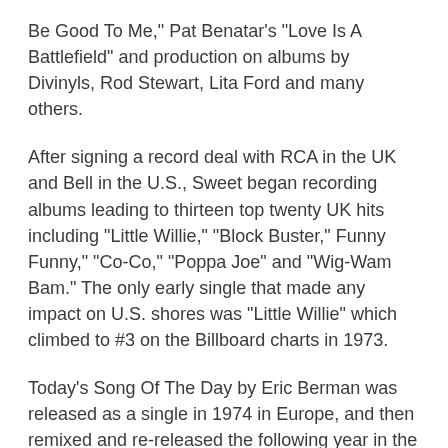Be Good To Me," Pat Benatar's "Love Is A Battlefield" and production on albums by Divinyls, Rod Stewart, Lita Ford and many others.
After signing a record deal with RCA in the UK and Bell in the U.S., Sweet began recording albums leading to thirteen top twenty UK hits including "Little Willie," "Block Buster," Funny Funny," "Co-Co," "Poppa Joe" and "Wig-Wam Bam." The only early single that made any impact on U.S. shores was "Little Willie" which climbed to #3 on the Billboard charts in 1973.
Today's Song Of The Day by Eric Berman was released as a single in 1974 in Europe, and then remixed and re-released the following year in the U.S. It was subsequently covered by the likes of Red Hot Chili Peppers, Girlschool, Ace Frehley (of Kiss) and the